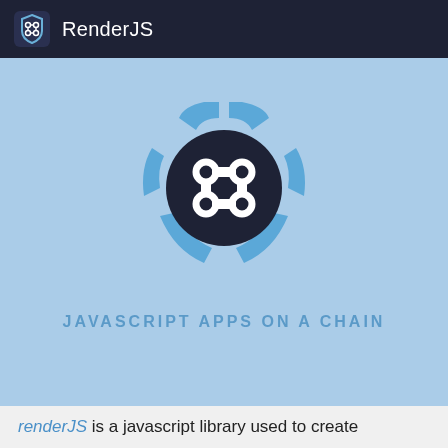RenderJS
[Figure (logo): RenderJS logo: a shield-like shape made of blue curved segments surrounding a dark navy circle with a chain-link icon in white, on a light blue background. Below the logo: 'JAVASCRIPT APPS ON A CHAIN' in blue uppercase letters.]
renderJS is a javascript library used to create